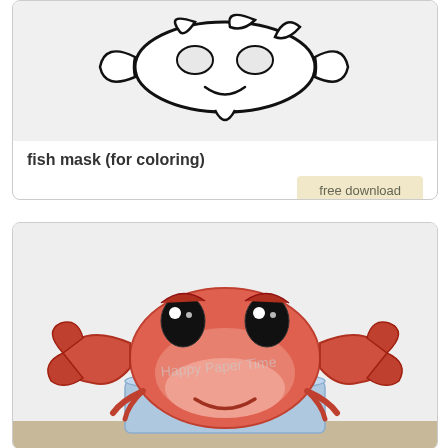[Figure (illustration): Black and white line drawing of a fish mask (for coloring) on a light gray background, with 'Happy Paper Time' watermark text visible]
fish mask (for coloring)
free download
[Figure (photo): Colorful paper craft crab mask/crown with red-orange crab face featuring big eyes, claws raised on sides, and a smile, sitting on a blue cylindrical band. Happy Paper Time watermark visible.]